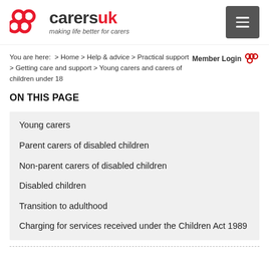[Figure (logo): Carers UK logo with red interlocking loops icon and text 'carersuk' with tagline 'making life better for carers']
You are here: > Home > Help & advice > Practical support > Getting care and support > Young carers and carers of children under 18
Member Login
ON THIS PAGE
Young carers
Parent carers of disabled children
Non-parent carers of disabled children
Disabled children
Transition to adulthood
Charging for services received under the Children Act 1989